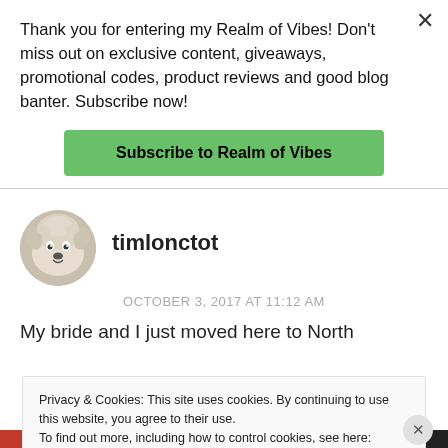Thank you for entering my Realm of Vibes! Don't miss out on exclusive content, giveaways, promotional codes, product reviews and good blog banter. Subscribe now!
Subscribe to Realm of Vibes
[Figure (photo): Circular avatar image of a fluffy white dog]
timlonctot
OCTOBER 3, 2017 AT 11:12 AM
My bride and I just moved here to North
Privacy & Cookies: This site uses cookies. By continuing to use this website, you agree to their use.
To find out more, including how to control cookies, see here: Cookie Policy
Close and accept